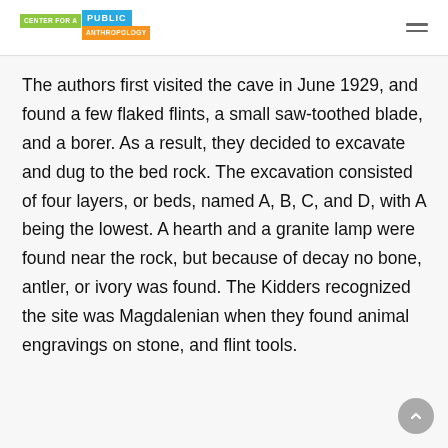CENTER FOR A PUBLIC ANTHROPOLOGY
The authors first visited the cave in June 1929, and found a few flaked flints, a small saw-toothed blade, and a borer. As a result, they decided to excavate and dug to the bed rock. The excavation consisted of four layers, or beds, named A, B, C, and D, with A being the lowest. A hearth and a granite lamp were found near the rock, but because of decay no bone, antler, or ivory was found. The Kidders recognized the site was Magdalenian when they found animal engravings on stone, and flint tools.